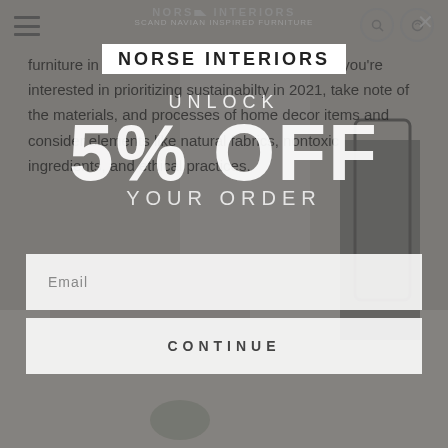[Figure (screenshot): Norse Interiors website screenshot showing a promotional popup overlay with '5% OFF YOUR ORDER' discount modal over a dimmed interior room background with article text visible behind]
NORSE INTERIORS
furniture in order to extend the life of a piece. If you're interested in prioritizing sustainabilty in 2021, take note of the materials, and processes of home decor items and consider elements like natural fabrics, nontoxic ingredients, and ethical practices.
NORSE INTERIORS
UNLOCK
5% OFF
YOUR ORDER
Email
CONTINUE